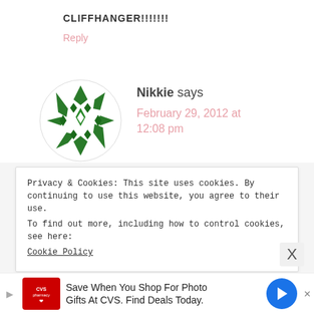CLIFFHANGER!!!!!!!
Reply
[Figure (illustration): Green decorative circular avatar icon with geometric star/snowflake pattern]
Nikkie says
February 29, 2012 at 12:08 pm
Privacy & Cookies: This site uses cookies. By continuing to use this website, you agree to their use. To find out more, including how to control cookies, see here: Cookie Policy
[Figure (infographic): CVS Pharmacy advertisement: Save When You Shop For Photo Gifts At CVS. Find Deals Today.]